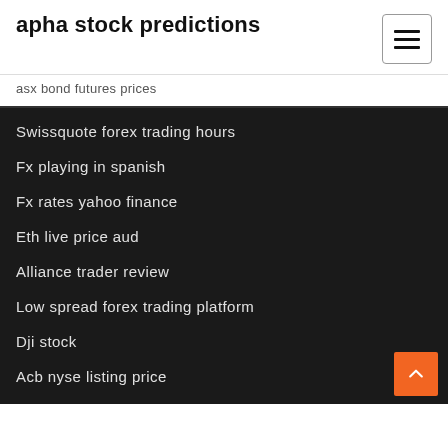apha stock predictions
asx bond futures prices
Swissquote forex trading hours
Fx playing in spanish
Fx rates yahoo finance
Eth live price aud
Alliance trader review
Low spread forex trading platform
Dji stock
Acb nyse listing price
How to trade forex interactive brokers
7225